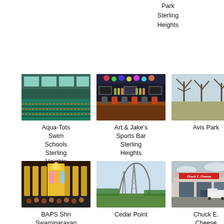Park Sterling Heights
[Figure (photo): Indoor swimming pool facility - Aqua-Tots Swim Schools Sterling Heights]
Aqua-Tots Swim Schools Sterling Heights
[Figure (photo): Art & Jake's Sports Bar interior with bar seating - Sterling Heights]
Art & Jake's Sports Bar Sterling Heights
[Figure (photo): Avis Park outdoor park with trees]
Avis Park
[Figure (photo): BAPS Shri Swaminarayan Mandir ornate golden temple interior with performers]
BAPS Shri Swaminarayan Mandir Sterling Heights
[Figure (photo): Cedar Point roller coaster tall steel ride]
Cedar Point
[Figure (photo): Chuck E. Cheese exterior building with trucks parked outside]
Chuck E. Cheese